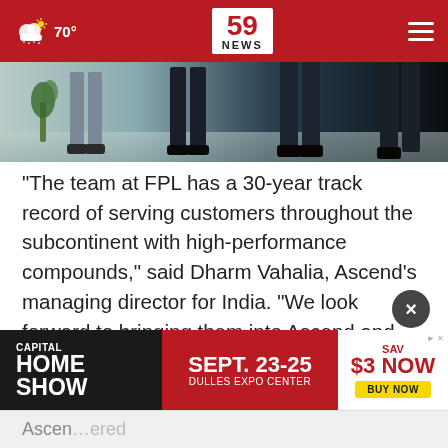70° | 59 NEWS
[Figure (photo): Cropped photo showing legs of people walking in business attire on a tiled surface]
"The team at FPL has a 30-year track record of serving customers throughout the subcontinent with high-performance compounds," said Dharm Vahalia, Ascend's managing director for India. "We look forward to bringing them into Ascend and broadening the portfolio available to customers in India."
[Figure (other): Advertisement: Capital Home Show, Sept. 23-25, Dulles Expo Center. Save $3 Now. Buy Now.]
Ascen...ered